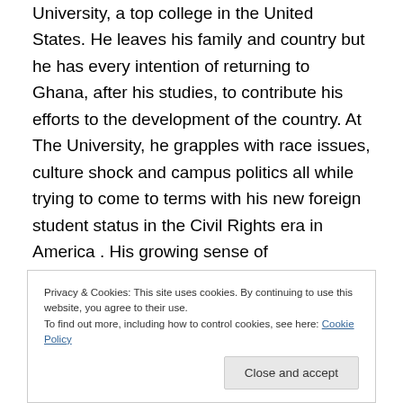University, a top college in the United States. He leaves his family and country but he has every intention of returning to Ghana, after his studies, to contribute his efforts to the development of the country. At The University, he grapples with race issues, culture shock and campus politics all while trying to come to terms with his new foreign student status in the Civil Rights era in America . His growing sense of disconnection with Ghana is made worse when the country suffers a coup d'etat in which he loses a beloved family member. Jojo will
Privacy & Cookies: This site uses cookies. By continuing to use this website, you agree to their use. To find out more, including how to control cookies, see here: Cookie Policy